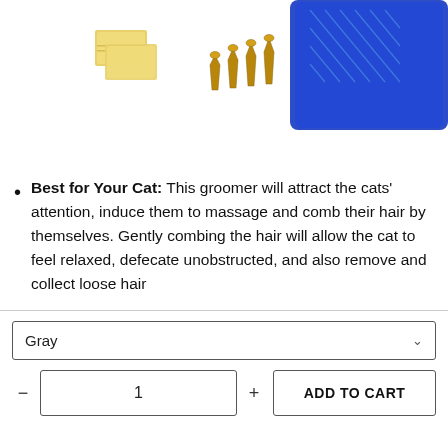[Figure (photo): Product photo showing a blue cat grooming brush/scratcher with bristles, yellow adhesive pads, and gold screws/nails on a white background.]
Best for Your Cat: This groomer will attract the cats' attention, induce them to massage and comb their hair by themselves. Gently combing the hair will allow the cat to feel relaxed, defecate unobstructed, and also remove and collect loose hair
Gray
- 1 + ADD TO CART